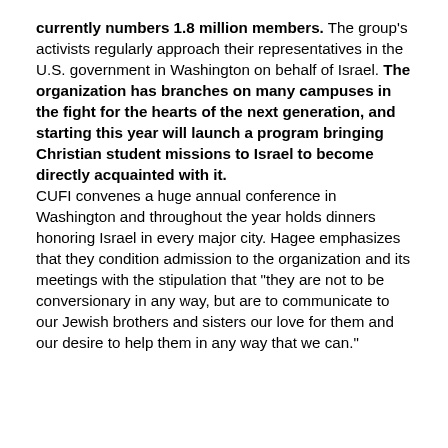currently numbers 1.8 million members. The group's activists regularly approach their representatives in the U.S. government in Washington on behalf of Israel. The organization has branches on many campuses in the fight for the hearts of the next generation, and starting this year will launch a program bringing Christian student missions to Israel to become directly acquainted with it. CUFI convenes a huge annual conference in Washington and throughout the year holds dinners honoring Israel in every major city. Hagee emphasizes that they condition admission to the organization and its meetings with the stipulation that "they are not to be conversionary in any way, but are to communicate to our Jewish brothers and sisters our love for them and our desire to help them in any way that we can."